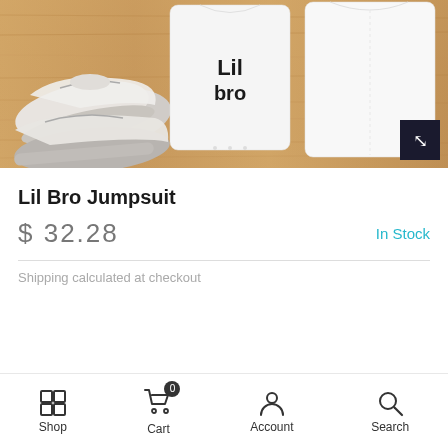[Figure (photo): Product photo of Lil Bro Jumpsuit - white baby onesies/jumpsuits and small white sneakers laid flat on a wooden surface]
Lil Bro Jumpsuit
$ 32.28   In Stock
Shipping calculated at checkout
Shop  Cart 0  Account  Search